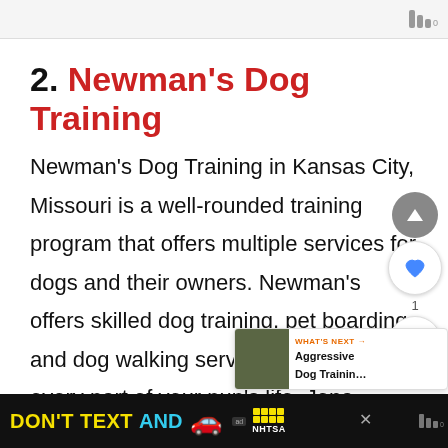2. Newman's Dog Training
Newman's Dog Training in Kansas City, Missouri is a well-rounded training program that offers multiple services for dogs and their owners. Newman's offers skilled dog training, pet boarding, and dog walking services assist in every part of your pup's life. Jena, owner of Newman's Dog Training began her tra...
DON'T TEXT AND 🚗 ad NHTSA